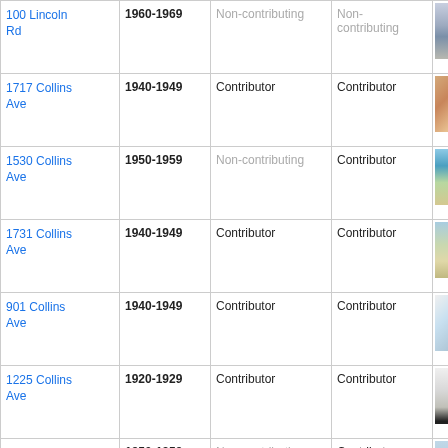| Address | Year | Status 1 | Status 2 | Photo |
| --- | --- | --- | --- | --- |
| 100 Lincoln Rd | 1960-1969 | Non-contributing | Non-contributing | [photo] |
| 1717 Collins Ave | 1940-1949 | Contributor | Contributor | [photo] |
| 1530 Collins Ave | 1950-1959 | Non-contributing | Contributor | [photo] |
| 1731 Collins Ave | 1940-1949 | Contributor | Contributor | [photo] |
| 901 Collins Ave | 1940-1949 | Contributor | Contributor | [photo] |
| 1225 Collins Ave | 1920-1929 | Contributor | Contributor | [photo] |
| 1052 Ocean | 1950-1959 | Non-contributing | Contributor | [photo] |